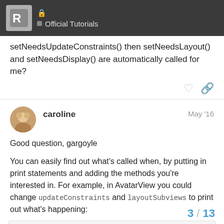Official Tutorials
setNeedsUpdateConstraints() then setNeedsLayout() and setNeedsDisplay() are automatically called for me?
caroline  May '16
Good question, gargoyle
You can easily find out what's called when, by putting in print statements and adding the methods you're interested in. For example, in AvatarView you could change updateConstraints and layoutSubviews to print out what's happening:
override func layoutSubviews() f
    print("before layoutSubvie
    super.layoutSubviews()
3 / 13